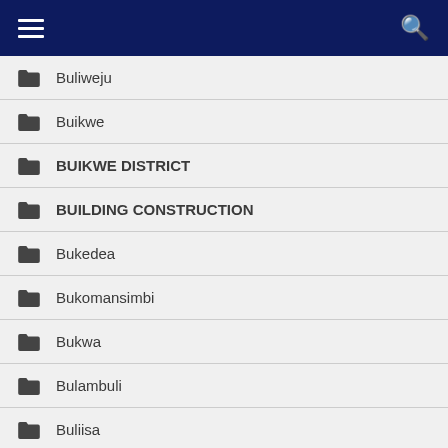Navigation menu header with hamburger and search icons
Buliweju
Buikwe
BUIKWE DISTRICT
BUILDING CONSTRUCTION
Bukedea
Bukomansimbi
Bukwa
Bulambuli
Buliisa
Bundibugyo
Bunyangabu
Bushenyi